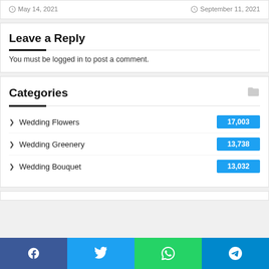May 14, 2021   September 11, 2021
Leave a Reply
You must be logged in to post a comment.
Categories
Wedding Flowers   17,003
Wedding Greenery   13,738
Wedding Bouquet   13,032
Facebook  Twitter  WhatsApp  Telegram